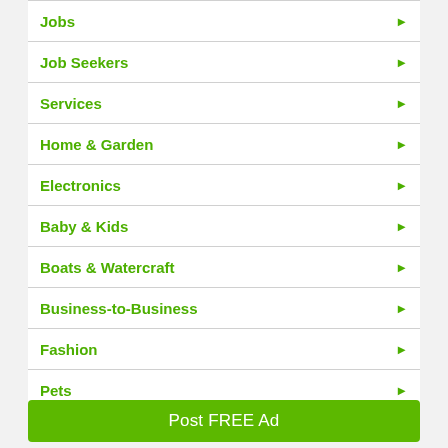Jobs
Job Seekers
Services
Home & Garden
Electronics
Baby & Kids
Boats & Watercraft
Business-to-Business
Fashion
Pets
Post FREE Ad